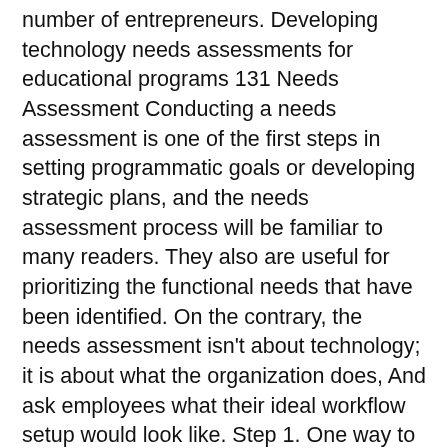number of entrepreneurs. Developing technology needs assessments for educational programs 131 Needs Assessment Conducting a needs assessment is one of the first steps in setting programmatic goals or developing strategic plans, and the needs assessment process will be familiar to many readers. They also are useful for prioritizing the functional needs that have been identified. On the contrary, the needs assessment isn't about technology; it is about what the organization does, And ask employees what their ideal workflow setup would look like. Step 1. One way to organize the needs is to use the following categories: Next, prioritize the determined needs. vital administrative information education organizations must use to operate efficiently and fulfill their mission effectively (e.g., class management information, password archives, and financial records). (where information is stored about minors) than a college or university Information Technology Needs Assessment All in accordance with specific the needs of health the Texas Stakeholders Team